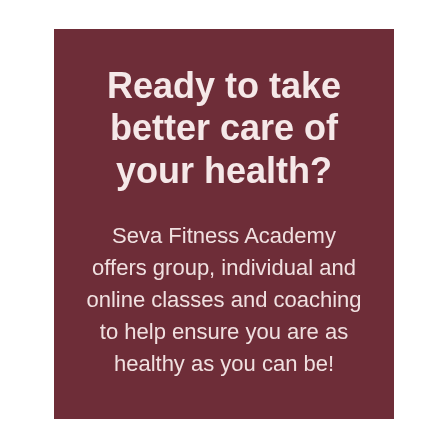Ready to take better care of your health?
Seva Fitness Academy offers group, individual and online classes and coaching to help ensure you are as healthy as you can be!